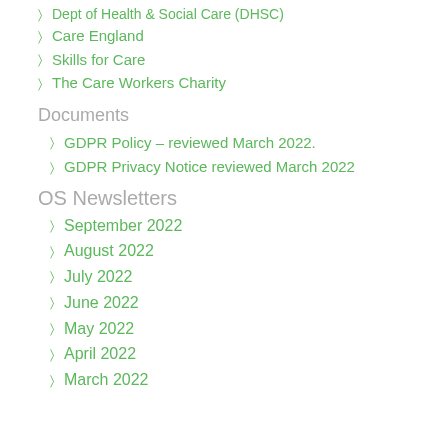Dept of Health & Social Care (DHSC)
Care England
Skills for Care
The Care Workers Charity
Documents
GDPR Policy – reviewed March 2022.
GDPR Privacy Notice reviewed March 2022
OS Newsletters
September 2022
August 2022
July 2022
June 2022
May 2022
April 2022
March 2022